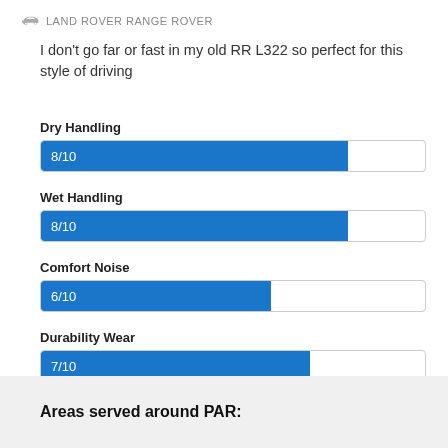LAND ROVER RANGE ROVER
I don't go far or fast in my old RR L322 so perfect for this style of driving
[Figure (bar-chart): Ratings]
Areas served around PAR: